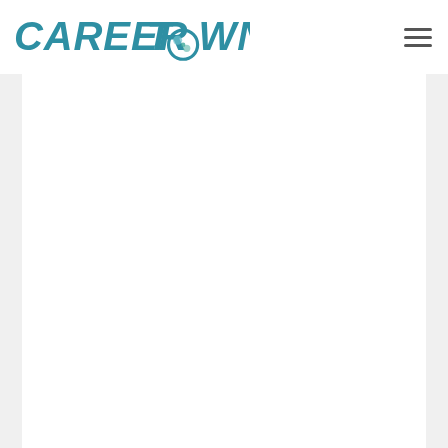Career Town
[Figure (other): Blank white content area with left and right gray sidebar borders below the header]